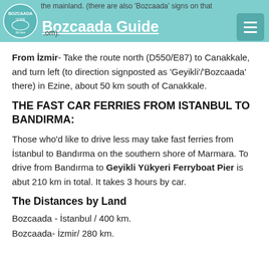Bozcaada Guide
the mainland. (there are also 'Bozcaada' signs on that .om).
From İzmir- Take the route north (D550/E87) to Canakkale, and turn left (to direction signposted as 'Geyikli'/'Bozcaada' there) in Ezine, about 50 km south of Canakkale.
THE FAST CAR FERRIES FROM ISTANBUL TO BANDIRMA:
Those who'd like to drive less may take fast ferries from İstanbul to Bandırma on the southern shore of Marmara. To drive from Bandırma to Geyikli Yükyeri Ferryboat Pier is abut 210 km in total. It takes 3 hours by car.
The Distances by Land
Bozcaada - İstanbul / 400 km.
Bozcaada- İzmir/ 280 km.